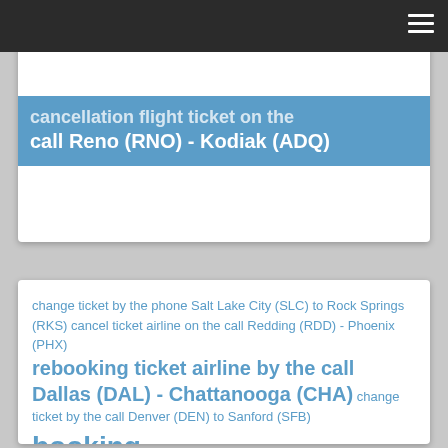≡ (hamburger menu)
cancellation flight ticket on the call Reno (RNO) - Kodiak (ADQ)
change ticket by the phone Salt Lake City (SLC) to Rock Springs (RKS) cancel ticket airline on the call Redding (RDD) - Phoenix (PHX) rebooking ticket airline by the call Dallas (DAL) - Chattanooga (CHA) change ticket by the call Denver (DEN) to Sanford (SFB) booking